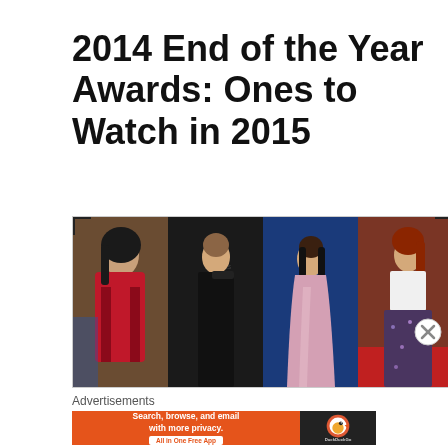2014 End of the Year Awards: Ones to Watch in 2015
[Figure (photo): Collage of four women in formal attire at red carpet and premiere events. Left to right: woman in red floral dress, woman in black one-shoulder gown, woman in blush pink gown at Focus Features premiere, woman in white top and sparkly skirt on red carpet.]
Advertisements
[Figure (screenshot): DuckDuckGo advertisement banner: 'Search, browse, and email with more privacy. All in One Free App' on orange background with DuckDuckGo logo on dark right panel.]